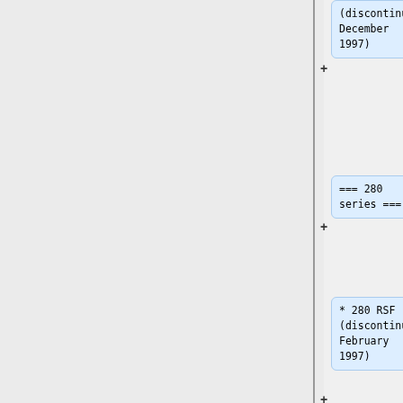(discontinued December 1997)
=== 280 series ===
* 280 RSF (discontinued February 1997)
* 350 series
* 350 RSF (discontinued July 1998)
=== Highflow 400 series ===
* Highflow